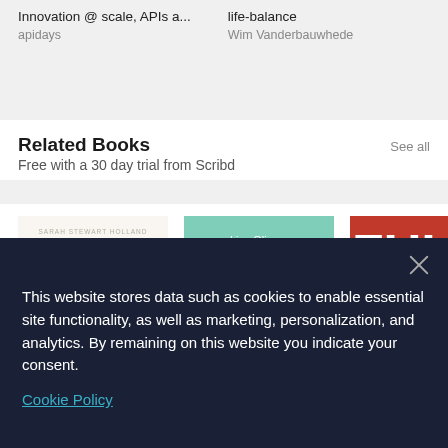Innovation @ scale, APIs a...
apidays
life-balance
Wim Vanderbauwhede
Related Books
Free with a 30 day trial from Scribd
[Figure (illustration): Three book covers displayed horizontally: 'Now What?' by Sarah Stewart Holland and Beth Silvers, 'Already Enough: A Path to Self-Acceptance' by Lisa Olivera, and a partially visible red book titled 'FUL...' with a navigation arrow on the right side.]
This website stores data such as cookies to enable essential site functionality, as well as marketing, personalization, and analytics. By remaining on this website you indicate your consent.
Cookie Policy